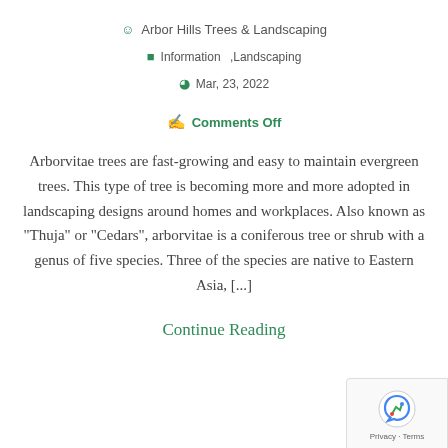Arbor Hills Trees & Landscaping
Information , Landscaping
Mar, 23, 2022
Comments Off
Arborvitae trees are fast-growing and easy to maintain evergreen trees. This type of tree is becoming more and more adopted in landscaping designs around homes and workplaces. Also known as "Thuja" or "Cedars", arborvitae is a coniferous tree or shrub with a genus of five species. Three of the species are native to Eastern Asia, [...]
Continue Reading